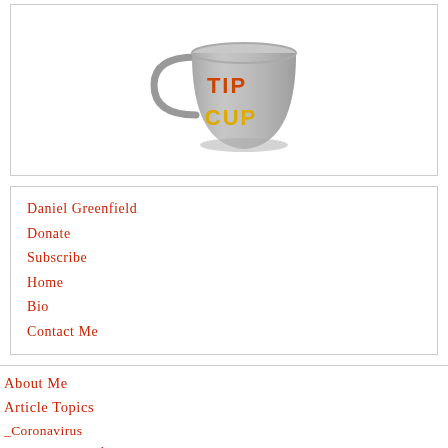[Figure (illustration): A metal tip cup/mug with 'TIP' written in orange letters and 'CUP' written in yellow letters on its side, with a handle on the left.]
Daniel Greenfield
Donate
Subscribe
Home
Bio
Contact Me
About Me
Article Topics
_Coronavirus
_Important Articles
_Terrorism
_Islam
_Politics
_Satire
_Future of the West
_Israel
_Socialism